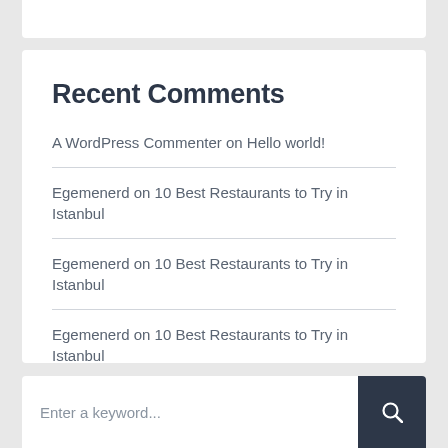Recent Comments
A WordPress Commenter on Hello world!
Egemenerd on 10 Best Restaurants to Try in Istanbul
Egemenerd on 10 Best Restaurants to Try in Istanbul
Egemenerd on 10 Best Restaurants to Try in Istanbul
Egemenerd on The Top 10 Things To See And Do In Paris
Enter a keyword...